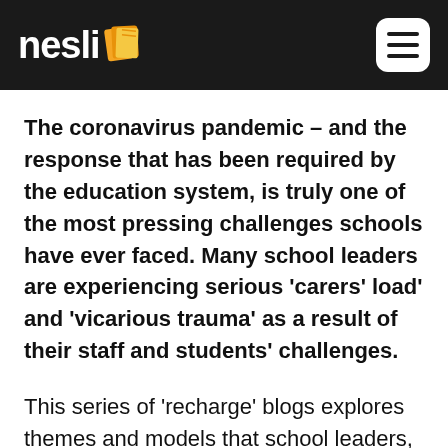nesli [logo]
The coronavirus pandemic – and the response that has been required by the education system, is truly one of the most pressing challenges schools have ever faced. Many school leaders are experiencing serious 'carers' load' and 'vicarious trauma' as a result of their staff and students' challenges.
This series of 'recharge' blogs explores themes and models that school leaders, teachers and